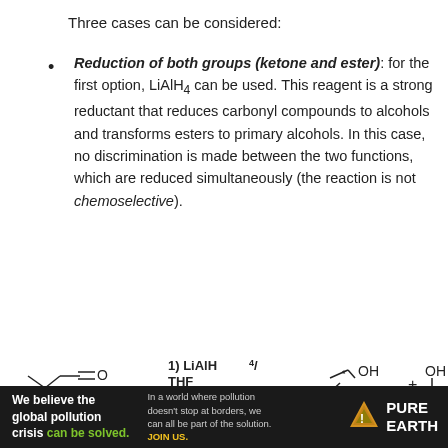Three cases can be considered:
Reduction of both groups (ketone and ester): for the first option, LiAlH4 can be used. This reagent is a strong reductant that reduces carbonyl compounds to alcohols and transforms esters to primary alcohols. In this case, no discrimination is made between the two functions, which are reduced simultaneously (the reaction is not chemoselective).
[Figure (engineering-diagram): Chemical reaction diagram showing reduction with 1) LiAlH4 / THF, showing a ketone-ester starting material being converted to an alcohol product with a chiral center (OH) plus a primary alcohol (CH2OH).]
[Figure (other): Pure Earth advertisement banner: 'We believe the global pollution crisis can be solved. In a world where pollution doesn't stop at borders, we can all be part of the solution. JOIN US.' with Pure Earth logo.]